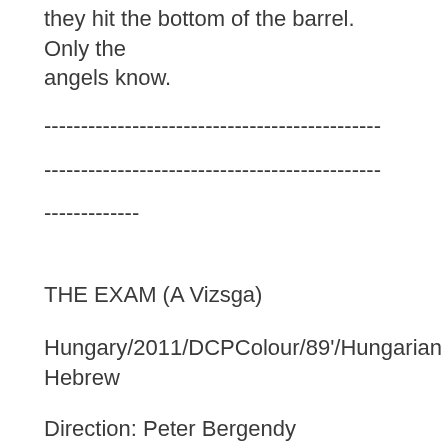they hit the bottom of the barrel. Only the angels know.
----------------------------------------------
----------------------------------------------
-------------
THE EXAM (A Vizsga)
Hungary/2011/DCPColour/89'/Hungarian Hebrew
Direction: Peter Bergendy
Production: Istvan Bodzsar